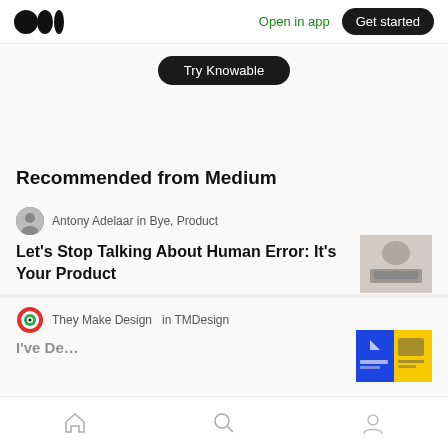Medium logo | Open in app | Get started
[Figure (screenshot): Try Knowable dark pill button]
Recommended from Medium
Antony Adelaar in Bye, Product
Let’s Stop Talking About Human Error: It’s Your Product
[Figure (photo): Person with hands clasped on keyboard]
They Make Design in TMDesign
[Figure (illustration): Blue and yellow design book covers thumbnail]
Home | Search | Profile navigation icons